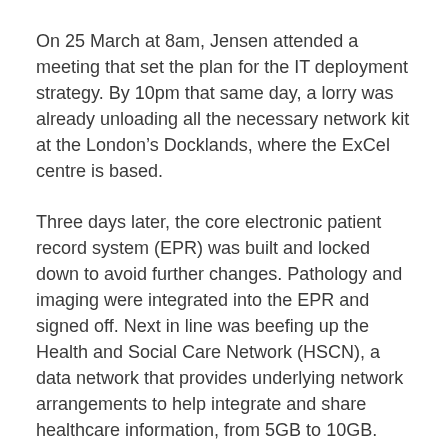On 25 March at 8am, Jensen attended a meeting that set the plan for the IT deployment strategy. By 10pm that same day, a lorry was already unloading all the necessary network kit at the London’s Docklands, where the ExCel centre is based.
Three days later, the core electronic patient record system (EPR) was built and locked down to avoid further changes. Pathology and imaging were integrated into the EPR and signed off. Next in line was beefing up the Health and Social Care Network (HSCN), a data network that provides underlying network arrangements to help integrate and share healthcare information, from 5GB to 10GB. VOIP phones were also rolled out.